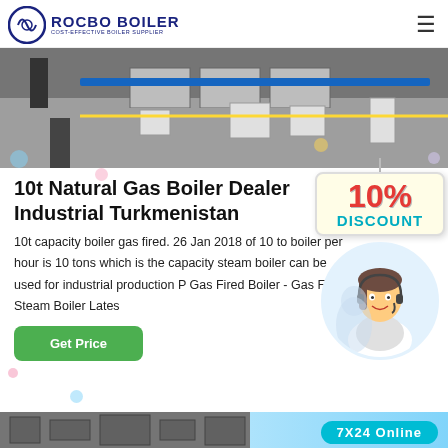ROCBO BOILER COST-EFFECTIVE BOILER SUPPLIER
[Figure (photo): Industrial boiler equipment facility, exterior shot with machinery and structures visible]
10t Natural Gas Boiler Dealer Industrial Turkmenistan
10t capacity boiler gas fired. 26 Jan 2018 of 10 to boiler per hour is 10 tons which is the capacity steam boiler can be used for industrial production P Gas Fired Boiler - Gas Fired Steam Boiler Lates
[Figure (illustration): 10% DISCOUNT promotional sign with teal DISCOUNT text on cream background, and a female customer service agent with headset in a circular frame, plus 7X24 Online badge]
[Figure (photo): Bottom banner showing industrial boiler equipment photo strip with 7X24 Online badge]